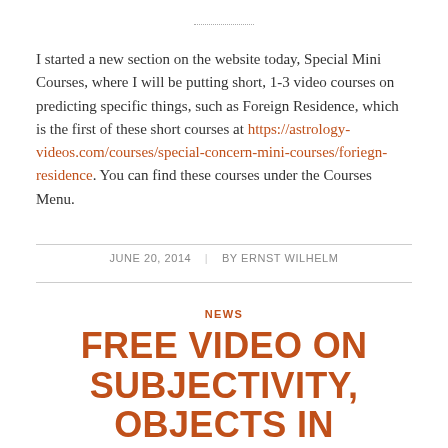I started a new section on the website today, Special Mini Courses, where I will be putting short, 1-3 video courses on predicting specific things, such as Foreign Residence, which is the first of these short courses at https://astrology-videos.com/courses/special-concern-mini-courses/foriegn-residence. You can find these courses under the Courses Menu.
JUNE 20, 2014 | BY ERNST WILHELM
NEWS
FREE VIDEO ON SUBJECTIVITY, OBJECTS IN